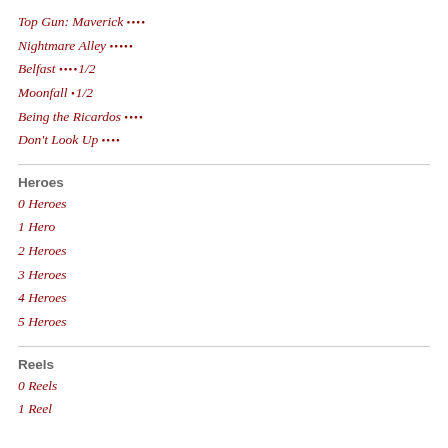Top Gun: Maverick ••••
Nightmare Alley •••••
Belfast ••••1/2
Moonfall •1/2
Being the Ricardos ••••
Don't Look Up ••••
Heroes
0 Heroes
1 Hero
2 Heroes
3 Heroes
4 Heroes
5 Heroes
Reels
0 Reels
1 Reel